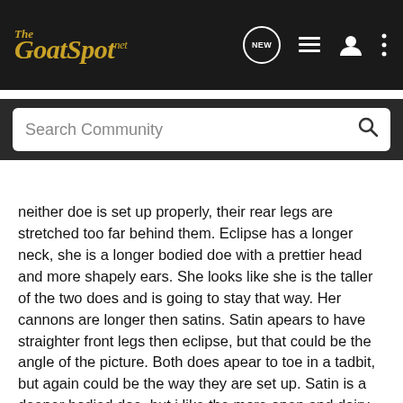[Figure (screenshot): TheGoatSpot.net website header with logo, NEW chat bubble icon, list icon, user icon, and more options icon on dark background]
[Figure (screenshot): Search Community search bar on dark background]
neither doe is set up properly, their rear legs are stretched too far behind them. Eclipse has a longer neck, she is a longer bodied doe with a prettier head and more shapely ears. She looks like she is the taller of the two does and is going to stay that way. Her cannons are longer then satins. Satin apears to have straighter front legs then eclipse, but that could be the angle of the picture. Both does apear to toe in a tadbit, but again could be the way they are set up. Satin is a deeper bodied doe, but i like the more open and dairy look that eclipse has. Both of these does are pictured as dry yearlings, and to me eclipse looks more feminine.
Eclipse is priced higher because she is the nicer of the two does.
beth